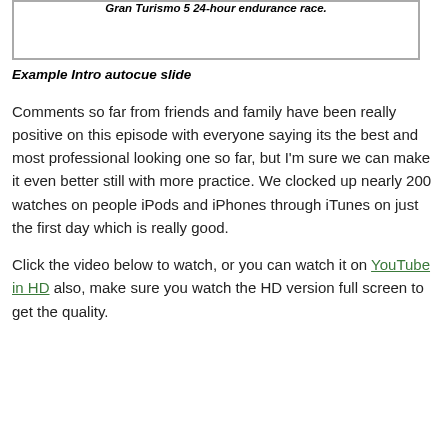[Figure (screenshot): Slide box with bold italic text referencing Gran Turismo 5 24-hour endurance race]
Example Intro autocue slide
Comments so far from friends and family have been really positive on this episode with everyone saying its the best and most professional looking one so far, but I'm sure we can make it even better still with more practice. We clocked up nearly 200 watches on people iPods and iPhones through iTunes on just the first day which is really good.
Click the video below to watch, or you can watch it on YouTube in HD also, make sure you watch the HD version full screen to get the quality.